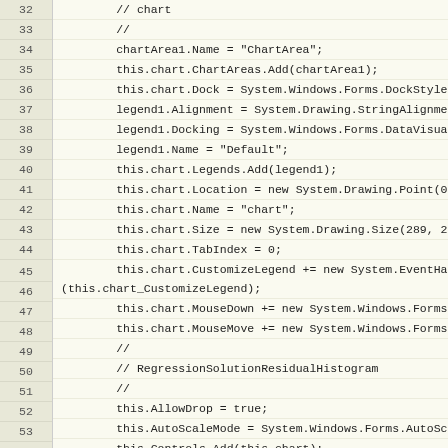Code listing lines 32-57, C# Windows Forms chart initialization code